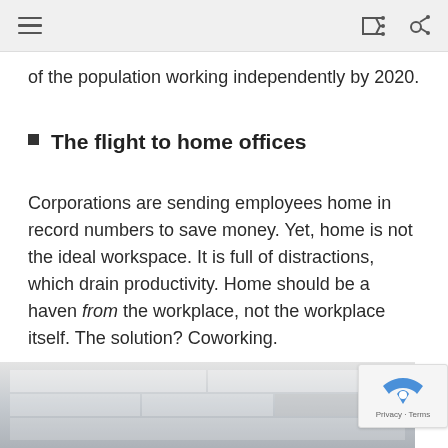Navigation header with menu, share, and search icons
of the population working independently by 2020.
The flight to home offices
Corporations are sending employees home in record numbers to save money. Yet, home is not the ideal workspace. It is full of distractions, which drain productivity. Home should be a haven from the workplace, not the workplace itself. The solution? Coworking.
[Figure (photo): Interior photo of an office space with ceiling tiles and fluorescent lighting]